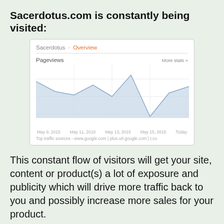Sacerdotus.com is constantly being visited:
[Figure (screenshot): Google Analytics / Blogger overview screenshot showing Pageviews area chart for Sacerdotus blog. X-axis labels: May 9, 2015, May 11, 2015, May 13, 2015, May 15, 2015, Today. Shows fluctuating pageview trend with peaks around May 9 and May 15. Footer: Top traffic sources - www.google.com | plus.url.google.com | t.co]
This constant flow of visitors will get your site, content or product(s) a lot of exposure and publicity which will drive more traffic back to you and possibly increase more sales for your product.
Global audience: